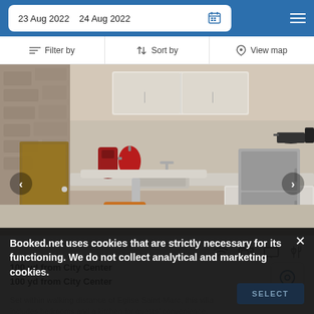23 Aug 2022  24 Aug 2022
Filter by  |  Sort by  |  View map
[Figure (photo): Kitchen interior of a vacation rental showing white cabinets, a small bar table with stool, red kettle, coffee maker, sink, and mini refrigerator on the right side.]
100 yd from City Center
100 yd from City Center
Set within walking distance of Eglise Saint-Marc, this villa includes bedrooms and a kitchen for guests' convenience.
Booked.net uses cookies that are strictly necessary for its functioning. We do not collect analytical and marketing cookies.
SELECT